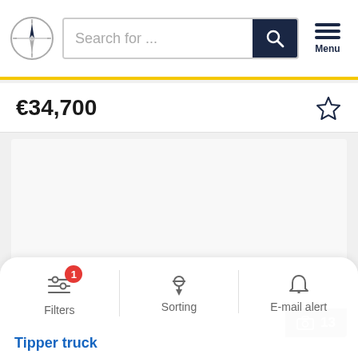[Figure (screenshot): Website navigation bar with compass logo, search input field reading 'Search for ...', dark blue search button with magnifying glass icon, and hamburger menu button with 'Menu' label. A yellow bar runs below the navigation.]
€34,700
[Figure (photo): White blank image area representing a vehicle listing photo, with a grey badge showing a photo icon and '13' in the bottom right corner.]
[Figure (screenshot): Bottom toolbar with three items: Filters (with filter icon and red badge showing '1'), Sorting (with sorting icon), and E-mail alert (with bell icon).]
Tipper truck